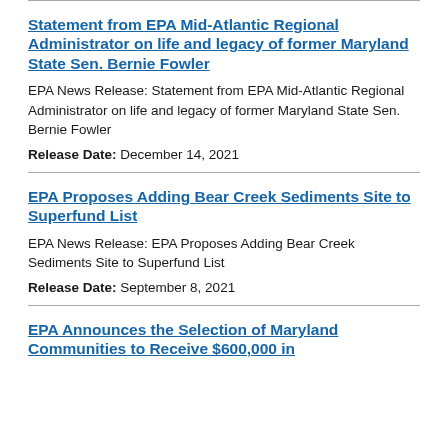Statement from EPA Mid-Atlantic Regional Administrator on life and legacy of former Maryland State Sen. Bernie Fowler
EPA News Release: Statement from EPA Mid-Atlantic Regional Administrator on life and legacy of former Maryland State Sen. Bernie Fowler
Release Date: December 14, 2021
EPA Proposes Adding Bear Creek Sediments Site to Superfund List
EPA News Release: EPA Proposes Adding Bear Creek Sediments Site to Superfund List
Release Date: September 8, 2021
EPA Announces the Selection of Maryland Communities to Receive $600,000 in